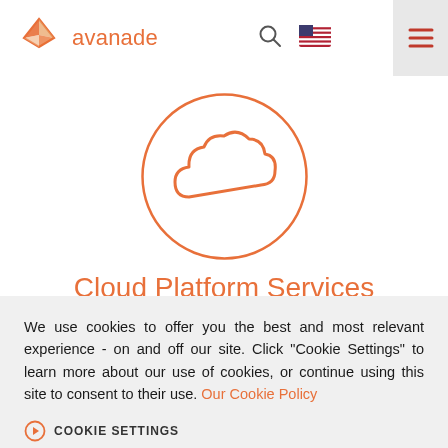[Figure (logo): Avanade logo with orange geometric diamond shape and 'avanade' text in orange]
[Figure (illustration): Orange circle outline containing an orange cloud outline icon, centered on white background]
Cloud Platform Services
We use cookies to offer you the best and most relevant experience - on and off our site. Click "Cookie Settings" to learn more about our use of cookies, or continue using this site to consent to their use. Our Cookie Policy
COOKIE SETTINGS
ACCEPT COOKIES